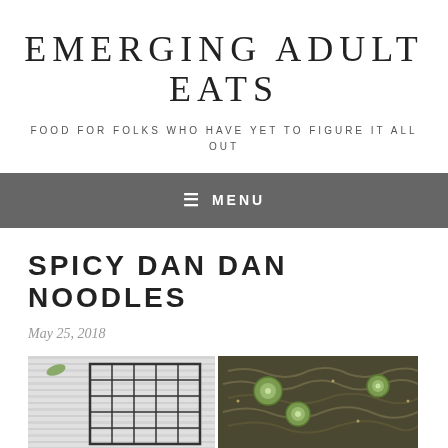EMERGING ADULT EATS
FOOD FOR FOLKS WHO HAVE YET TO FIGURE IT ALL OUT
≡ MENU
SPICY DAN DAN NOODLES
May 25, 2018
[Figure (photo): Two-panel food photo: left panel shows white fabric/cloth background with a dark grid cooling rack, right panel shows noodles with green vegetables (cucumber slices) in a dark bowl]